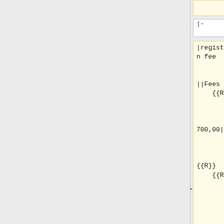[Figure (screenshot): Diff view showing two columns of wiki markup code. Left (yellow) column shows registration fee template code with values including |registration fee, ||Fees {{R}}, 700,00||, {{R}} {{R}}, 0,00. Right (blue) column shows similar code with n/a instead of 0,00. Both columns have |- and |} delimiters. Right column also has a + block and [[category:archives]] addition.]